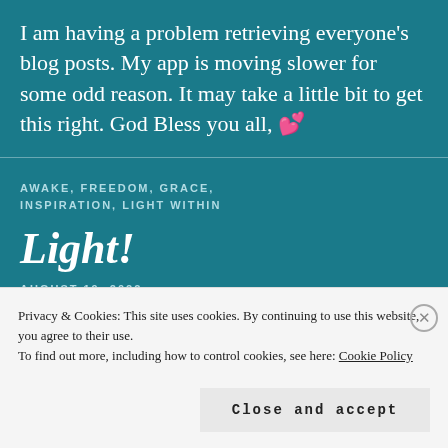I am having a problem retrieving everyone's blog posts. My app is moving slower for some odd reason. It may take a little bit to get this right. God Bless you all, 💕
AWAKE, FREEDOM, GRACE, INSPIRATION, LIGHT WITHIN
Light!
AUGUST 19, 2022
Privacy & Cookies: This site uses cookies. By continuing to use this website, you agree to their use.
To find out more, including how to control cookies, see here: Cookie Policy
Close and accept